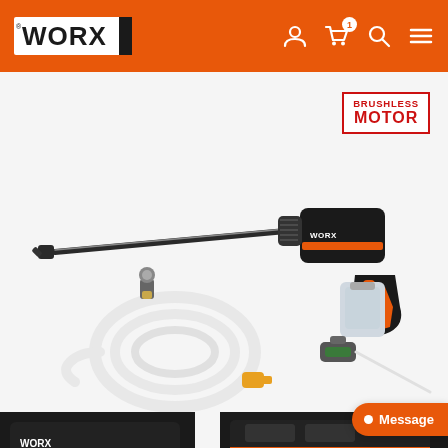[Figure (logo): WORX logo in white on orange background header with navigation icons: user, cart (badge: 1), search, menu]
[Figure (photo): WORX Hydro Shot cordless pressure washer product image showing: main gun/wand unit with long lance, coiled hose with connectors, and detergent bottle accessory. Also shows partial images at bottom. 'BRUSHLESS MOTOR' badge in red top right.]